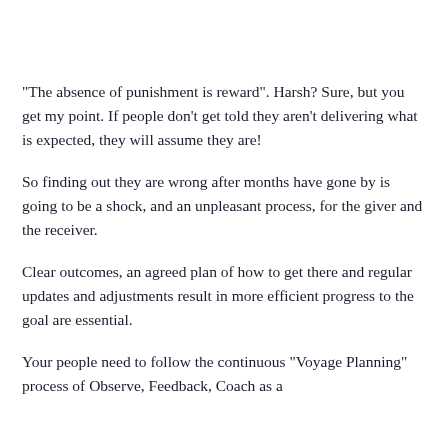"The absence of punishment is reward". Harsh? Sure, but you get my point. If people don't get told they aren't delivering what is expected, they will assume they are!
So finding out they are wrong after months have gone by is going to be a shock, and an unpleasant process, for the giver and the receiver.
Clear outcomes, an agreed plan of how to get there and regular updates and adjustments result in more efficient progress to the goal are essential.
Your people need to follow the continuous "Voyage Planning" process of Observe, Feedback, Coach as a